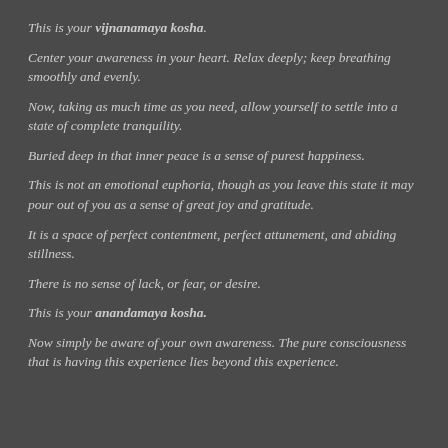This is your vijnanamaya kosha.
Center your awareness in your heart. Relax deeply; keep breathing smoothly and evenly.
Now, taking as much time as you need, allow yourself to settle into a state of complete tranquility.
Buried deep in that inner peace is a sense of purest happiness.
This is not an emotional euphoria, though as you leave this state it may pour out of you as a sense of great joy and gratitude.
It is a space of perfect contentment, perfect attunement, and abiding stillness.
There is no sense of lack, or fear, or desire.
This is your anandamaya kosha.
Now simply be aware of your own awareness. The pure consciousness that is having this experience lies beyond this experience.